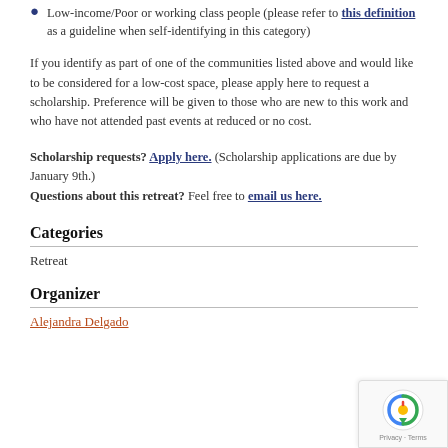Low-income/Poor or working class people (please refer to this definition as a guideline when self-identifying in this category)
If you identify as part of one of the communities listed above and would like to be considered for a low-cost space, please apply here to request a scholarship. Preference will be given to those who are new to this work and who have not attended past events at reduced or no cost.
Scholarship requests? Apply here. (Scholarship applications are due by January 9th.) Questions about this retreat? Feel free to email us here.
Categories
Retreat
Organizer
Alejandra Delgado